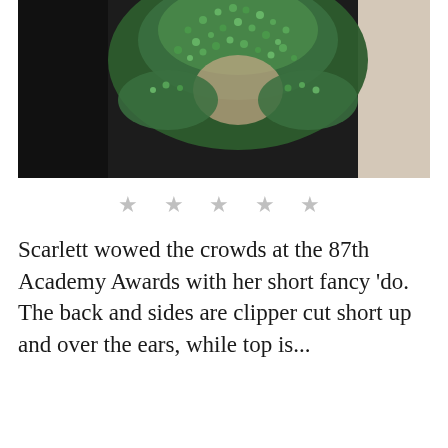[Figure (photo): Photo of a woman wearing a green beaded/jeweled dress at the 87th Academy Awards. The image shows the upper body with an ornate green crystal-embellished neckline and shoulders against a dark background.]
★ ★ ★ ★ ★
Scarlett wowed the crowds at the 87th Academy Awards with her short fancy 'do. The back and sides are clipper cut short up and over the ears, while top is...